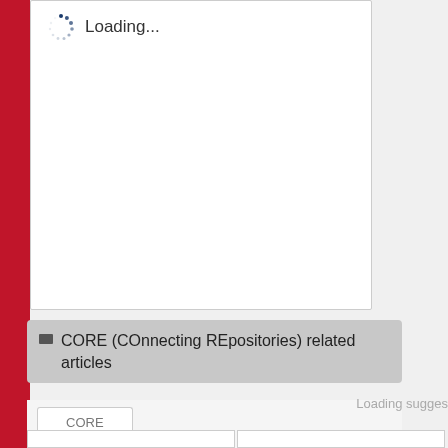[Figure (screenshot): Web application interface showing a loading panel with a spinning dots indicator and 'Loading...' text, a gray section header bar labeled 'CORE (COnnecting REpositories) related articles' with a minus/collapse icon, a CORE tab, a 'Loading sugges...' indicator on the right side, and partial bottom panel rows. A red sidebar is visible on the left edge.]